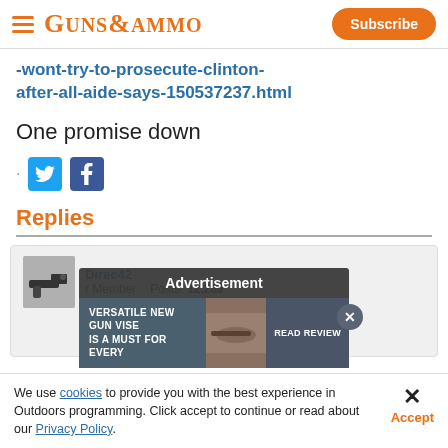GUNS&AMMO | Subscribe
-wont-try-to-prosecute-clinton-after-all-aide-says-150537237.html
One promise down
[Figure (screenshot): Twitter and Facebook social share icons]
Replies
[Figure (screenshot): Reply card with user avatar showing a gun silhouette, username, Senior Member label, Posts: 12,289, with an advertisement overlay reading 'Advertisement' and 'VERSATILE NEW GUN VISE IS A MUST FOR EVERY' with READ REVIEW button and close X button]
We use cookies to provide you with the best experience in Outdoors programming. Click accept to continue or read about our Privacy Policy.